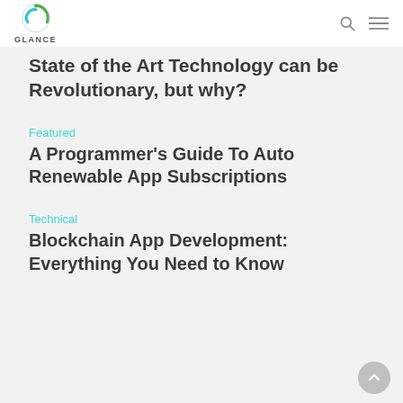GLANCE
State of the Art Technology can be Revolutionary, but why?
Featured
A Programmer's Guide To Auto Renewable App Subscriptions
Technical
Blockchain App Development: Everything You Need to Know